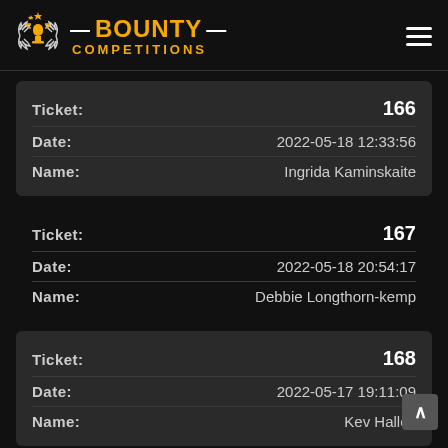[Figure (logo): Bounty Competitions logo with trophy icon and laurel wreath, with hamburger menu icon on right]
| Field | Value |
| --- | --- |
| Ticket: | 166 |
| Date: | 2022-05-18 12:33:56 |
| Name: | Ingrida Kaminskaite |
| Field | Value |
| --- | --- |
| Ticket: | 167 |
| Date: | 2022-05-18 20:54:17 |
| Name: | Debbie Longthorn-kemp |
| Field | Value |
| --- | --- |
| Ticket: | 168 |
| Date: | 2022-05-17 19:11:09 |
| Name: | Kev Halley |